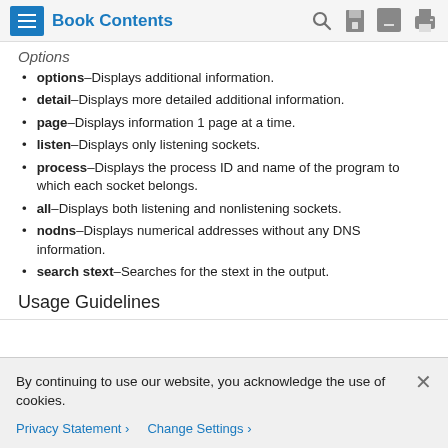Book Contents
Options
options–Displays additional information.
detail–Displays more detailed additional information.
page–Displays information 1 page at a time.
listen–Displays only listening sockets.
process–Displays the process ID and name of the program to which each socket belongs.
all–Displays both listening and nonlistening sockets.
nodns–Displays numerical addresses without any DNS information.
search stext–Searches for the stext in the output.
Usage Guidelines
By continuing to use our website, you acknowledge the use of cookies.
Privacy Statement  Change Settings